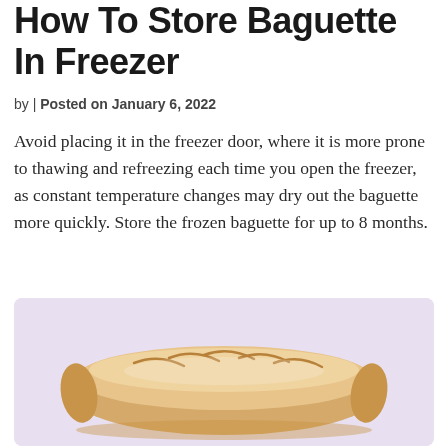How To Store Baguette In Freezer
by | Posted on January 6, 2022
Avoid placing it in the freezer door, where it is more prone to thawing and refreezing each time you open the freezer, as constant temperature changes may dry out the baguette more quickly. Store the frozen baguette for up to 8 months.
[Figure (photo): A baguette loaf on a light purple/lavender background]